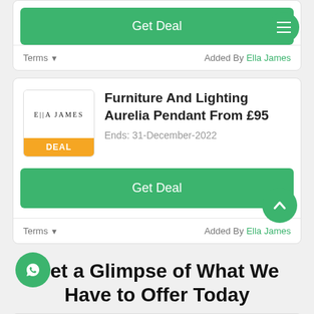[Figure (screenshot): Green 'Get Deal' button at top of card with hamburger menu icon]
Terms ↓   Added By Ella James
[Figure (screenshot): Deal card: Ella James store logo with DEAL badge, title 'Furniture And Lighting Aurelia Pendant From £95', Ends: 31-December-2022, Get Deal button, Terms/Added By footer]
Get a Glimpse of What We Have to Offer Today
Email Address